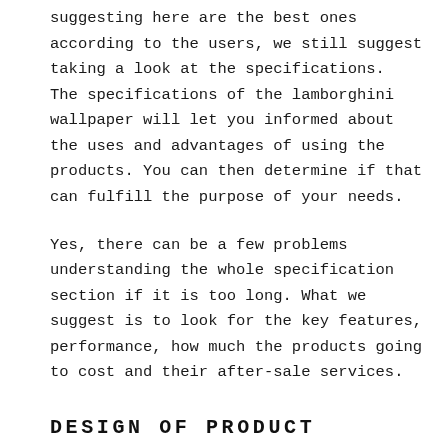suggesting here are the best ones according to the users, we still suggest taking a look at the specifications. The specifications of the lamborghini wallpaper will let you informed about the uses and advantages of using the products. You can then determine if that can fulfill the purpose of your needs.
Yes, there can be a few problems understanding the whole specification section if it is too long. What we suggest is to look for the key features, performance, how much the products going to cost and their after-sale services.
DESIGN OF PRODUCT